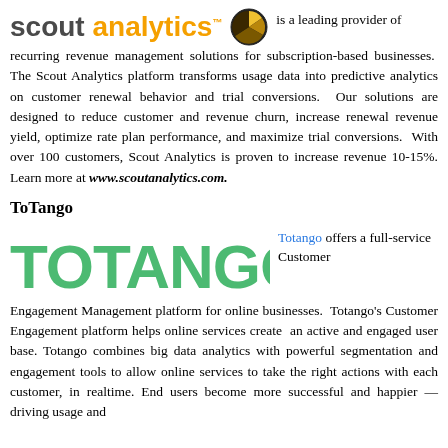[Figure (logo): Scout Analytics logo with dark grey 'scout' text, orange 'analytics' text, trademark symbol, and circular icon with yellow/brown segments]
is a leading provider of recurring revenue management solutions for subscription-based businesses. The Scout Analytics platform transforms usage data into predictive analytics on customer renewal behavior and trial conversions. Our solutions are designed to reduce customer and revenue churn, increase renewal revenue yield, optimize rate plan performance, and maximize trial conversions. With over 100 customers, Scout Analytics is proven to increase revenue 10-15%. Learn more at www.scoutanalytics.com.
ToTango
[Figure (logo): TOTANGO logo in large bold green uppercase letters]
Totango offers a full-service Customer Engagement Management platform for online businesses. Totango's Customer Engagement platform helps online services create an active and engaged user base. Totango combines big data analytics with powerful segmentation and engagement tools to allow online services to take the right actions with each customer, in realtime. End users become more successful and happier — driving usage and